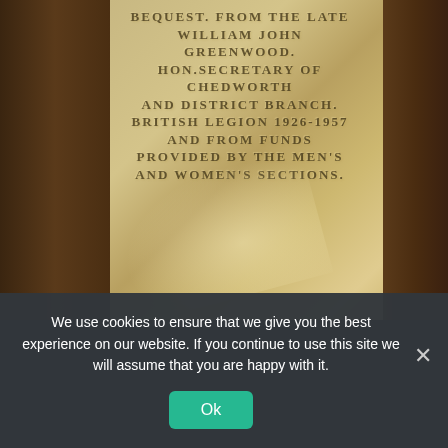[Figure (photo): A stone or marble memorial plaque photographed against a wooden background. The plaque bears an engraved inscription reading: 'BEQUEST FROM THE LATE WILLIAM JOHN GREENWOOD HON.SECRETARY OF CHEDWORTH AND DISTRICT BRANCH BRITISH LEGION 1926-1957 AND FROM FUNDS PROVIDED BY THE MEN'S AND WOMEN'S SECTIONS.' A diagonal light patch is visible on the lower portion of the stone.]
We use cookies to ensure that we give you the best experience on our website. If you continue to use this site we will assume that you are happy with it.